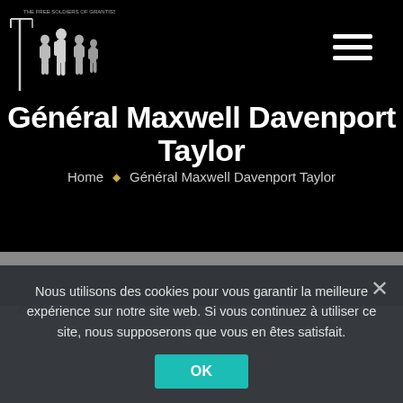Général Maxwell Davenport Taylor - site header with logo and hamburger menu
Général Maxwell Davenport Taylor
Home ◆ Général Maxwell Davenport Taylor
Nous utilisons des cookies pour vous garantir la meilleure expérience sur notre site web. Si vous continuez à utiliser ce site, nous supposerons que vous en êtes satisfait.